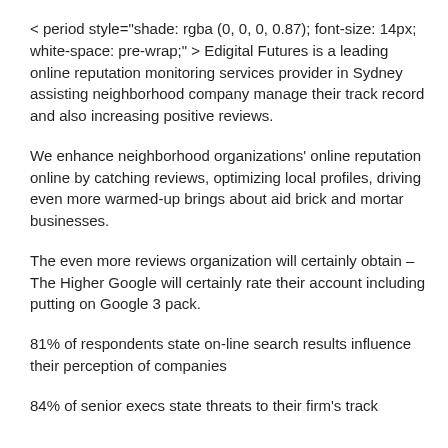< period style="shade: rgba (0, 0, 0, 0.87); font-size: 14px; white-space: pre-wrap;" > Edigital Futures is a leading online reputation monitoring services provider in Sydney assisting neighborhood company manage their track record and also increasing positive reviews.
We enhance neighborhood organizations' online reputation online by catching reviews, optimizing local profiles, driving even more warmed-up brings about aid brick and mortar businesses.
The even more reviews organization will certainly obtain – The Higher Google will certainly rate their account including putting on Google 3 pack.
81% of respondents state on-line search results influence their perception of companies
84% of senior execs state threats to their firm's track